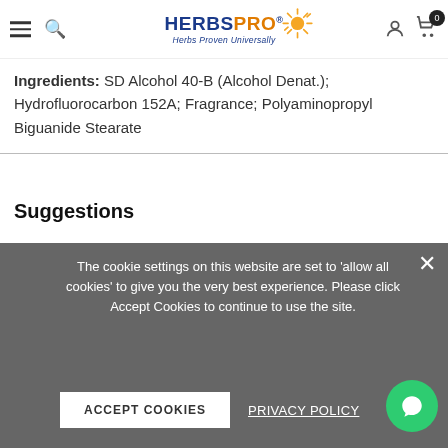HerbsPro - Herbs Proven Universally
Ingredients: SD Alcohol 40-B (Alcohol Denat.); Hydrofluorocarbon 152A; Fragrance; Polyaminopropyl Biguanide Stearate
Suggestions
Directions : Twist top open to reveal nozzle. Just hold can 6 inches from your body and spray it on your underarms, chest and neck.
Special Note
The cookie settings on this website are set to 'allow all cookies' to give you the very best experience. Please click Accept Cookies to continue to use the site.